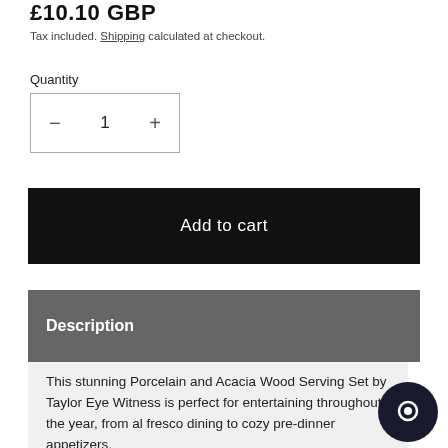£10.10 GBP
Tax included. Shipping calculated at checkout.
Quantity
− 1 +
Add to cart
Description
This stunning Porcelain and Acacia Wood Serving Set by Taylor Eye Witness is perfect for entertaining throughout the year, from al fresco dining to cozy pre-dinner appetizers.
Porcelain & acacia wood serving set includes four